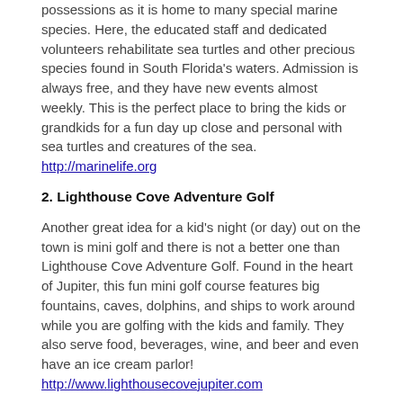possessions as it is home to many special marine species. Here, the educated staff and dedicated volunteers rehabilitate sea turtles and other precious species found in South Florida's waters. Admission is always free, and they have new events almost weekly. This is the perfect place to bring the kids or grandkids for a fun day up close and personal with sea turtles and creatures of the sea. http://marinelife.org
2. Lighthouse Cove Adventure Golf
Another great idea for a kid's night (or day) out on the town is mini golf and there is not a better one than Lighthouse Cove Adventure Golf. Found in the heart of Jupiter, this fun mini golf course features big fountains, caves, dolphins, and ships to work around while you are golfing with the kids and family. They also serve food, beverages, wine, and beer and even have an ice cream parlor! http://www.lighthousecovejupiter.com
3. Lion Country Safari
If you have not taken a trip to Lion Country Safari, you will want to add it to your list! It is Florida's only drive-through safari and walk-through amusement park. Spend the day with your kids and nine hundred animals ranging from giraffes and rhinos to antelope and ostriches. Get up close and personal with these wild and beautiful animals at